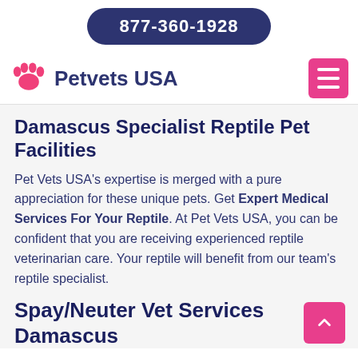877-360-1928
Petvets USA
Damascus Specialist Reptile Pet Facilities
Pet Vets USA's expertise is merged with a pure appreciation for these unique pets. Get Expert Medical Services For Your Reptile. At Pet Vets USA, you can be confident that you are receiving experienced reptile veterinarian care. Your reptile will benefit from our team's reptile specialist.
Spay/Neuter Vet Services Damascus